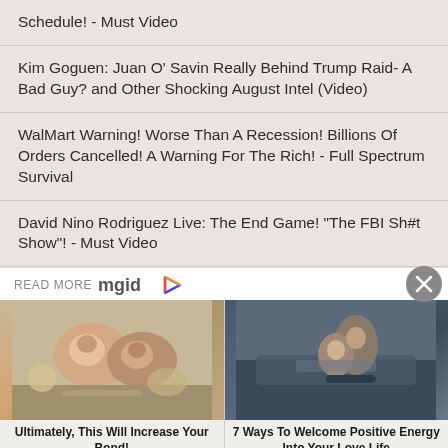Schedule! - Must Video
Kim Goguen: Juan O' Savin Really Behind Trump Raid- A Bad Guy? and Other Shocking August Intel (Video)
WalMart Warning! Worse Than A Recession! Billions Of Orders Cancelled! A Warning For The Rich! - Full Spectrum Survival
David Nino Rodriguez Live: The End Game! "The FBI Sh#t Show"! - Must Video
READ MORE mgid
[Figure (photo): Two people lying on a picnic blanket, smiling, with sunglasses and flowers]
Ultimately, This Will Increase Your Bond!
[Figure (photo): Two people kissing next to a car outdoors]
7 Ways To Welcome Positive Energy Into Your Love Life